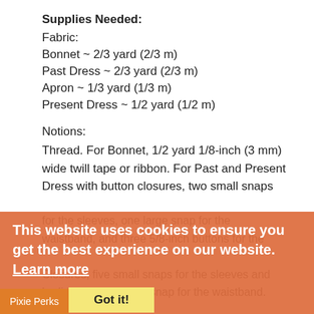Supplies Needed:
Fabric:
Bonnet ~ 2/3 yard (2/3 m)
Past Dress ~ 2/3 yard (2/3 m)
Apron ~ 1/3 yard (1/3 m)
Present Dress ~ 1/2 yard (1/2 m)
Notions:
Thread. For Bonnet, 1/2 yard 1/8-inch (3 mm) wide twill tape or ribbon. For Past and Present Dress with button closures, two small snaps for the sleeves, one large snap for the waistband, and three 5/8-inch buttons for the Closures, five small snaps for the sleeves and bodice and one large snap for the waistband. For Present Dress one 3/8-inch (9 mm) decorative button for the flower.
This website uses cookies to ensure you get the best experience on our website. Learn more
Got it!
Pixie Perks